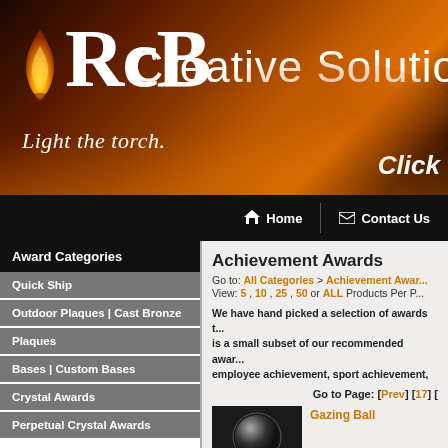[Figure (screenshot): RCB website header banner with flame logo, RCB text, 'Light the torch.' tagline, 'Creative Solutio...' text, and 'Click' text on dark brown/orange gradient background]
Home | Contact Us
Award Categories
Quick Ship
Outdoor Plaques | Cast Bronze
Plaques
Bases | Custom Bases
Crystal Awards
Perpetual Crystal Awards
Achievement Awards
Go to: All Categories > Achievement Awar... View: 5 , 10 , 25 , 50 or ALL Products Per P...
We have hand picked a selection of awards t... is a small subset of our recommended awar... employee achievement, sport achievement,
Go to Page: [Prev] [17] [
Gazing Ball